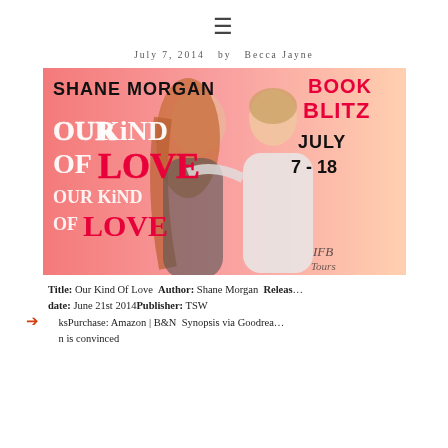☰
July 7, 2014  by  Becca Jayne
[Figure (photo): Book blitz promotional banner for 'Our Kind Of Love' by Shane Morgan. Pink/coral background with a couple embracing. Text reads: SHANE MORGAN, OUR KIND OF LOVE, BOOK BLITZ JULY 7 - 18, IFB Tours logo.]
Title: Our Kind Of Love Author: Shane Morgan Release date: June 21st 2014Publisher: TSW BooksPurchase: Amazon | B&N Synopsis via Goodreads n is convinced